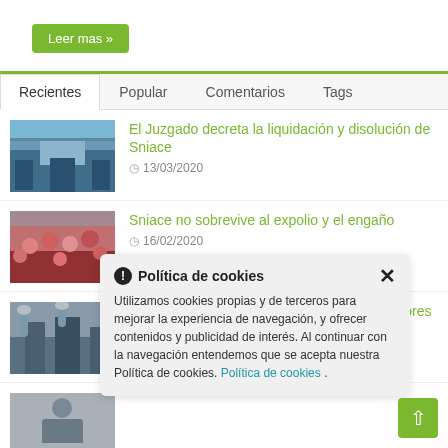Leer mas »
Recientes | Popular | Comentarios | Tags
El Juzgado decreta la liquidación y disolución de Sniace
13/03/2020
Sniace no sobrevive al expolio y el engaño
16/02/2020
Sniace presenta un ERTE para 229 trabajadores y 1 año de duración
23/12/2019
Política de cookies
Utilizamos cookies propias y de terceros para mejorar la experiencia de navegación, y ofrecer contenidos y publicidad de interés. Al continuar con la navegación entendemos que se acepta nuestra Política de cookies. Política de cookies .